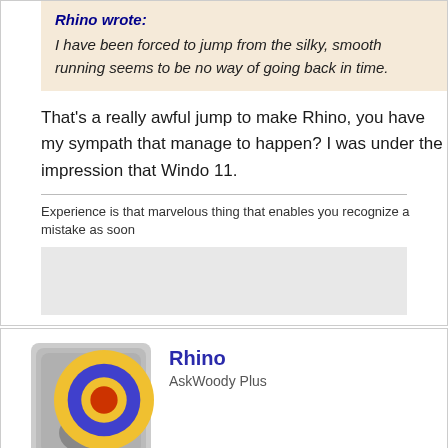Rhino wrote:
I have been forced to jump from the silky, smooth running seems to be no way of going back in time.
That's a really awful jump to make Rhino, you have my sympathy. How did that manage to happen? I was under the impression that Windows 11.
Experience is that marvelous thing that enables you recognize a mistake as soon
Rhino
AskWoody Plus
May 25, 2022 at 2:29 pm
Mea culpa, and a glass of wine, White Zinfandel as a matter through the machine and left it to dry in the sun for a few c see it come back from the grave, like Lazarus. The deskto